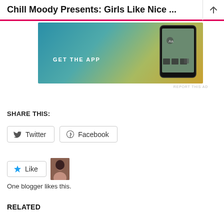Chill Moody Presents: Girls Like Nice ...
[Figure (screenshot): App advertisement banner showing 'GET THE APP' text on a teal-to-yellow gradient background with a phone screenshot on the right side]
REPORT THIS AD
SHARE THIS:
Twitter  Facebook
Like  [blogger avatar]
One blogger likes this.
RELATED